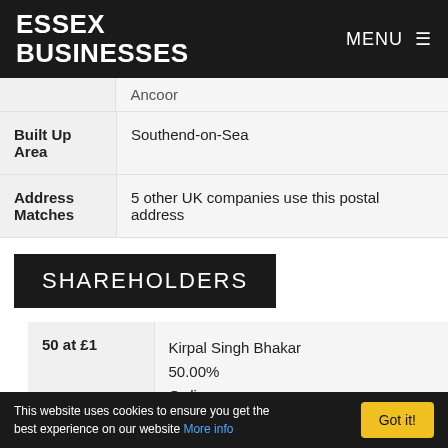ESSEX BUSINESSES | MENU
| Field | Value |
| --- | --- |
| (partial row - cut off) | (cut off) |
| Built Up Area | Southend-on-Sea |
| Address Matches | 5 other UK companies use this postal address |
SHAREHOLDERS
| Shares | Shareholder |
| --- | --- |
| 50 at £1 | Kirpal Singh Bhakar
50.00%
Ordinary |
| 50 at £1 | Mark James Mathieson
50.00% |
This website uses cookies to ensure you get the best experience on our website More info | Got it!